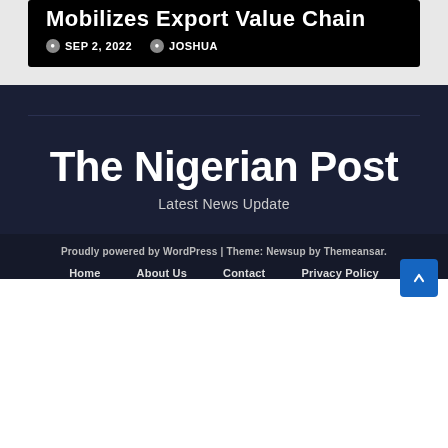Mobilizes Export Value Chain
SEP 2, 2022   JOSHUA
The Nigerian Post
Latest News Update
Proudly powered by WordPress | Theme: Newsup by Themeansar.
Home   About Us   Contact   Privacy Policy